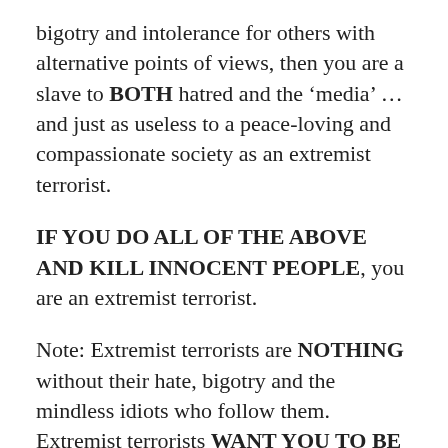bigotry and intolerance for others with alternative points of views, then you are a slave to BOTH hatred and the ‘media’ … and just as useless to a peace-loving and compassionate society as an extremist terrorist.
IF YOU DO ALL OF THE ABOVE AND KILL INNOCENT PEOPLE, you are an extremist terrorist.
Note: Extremist terrorists are NOTHING without their hate, bigotry and the mindless idiots who follow them. Extremist terrorists WANT YOU TO BE SCARED AND ANGRY so that YOU spread their hatred and bigotry FOR THEM. AND, they will kill you anyway, just as easily and willfully as they sacrifice their own